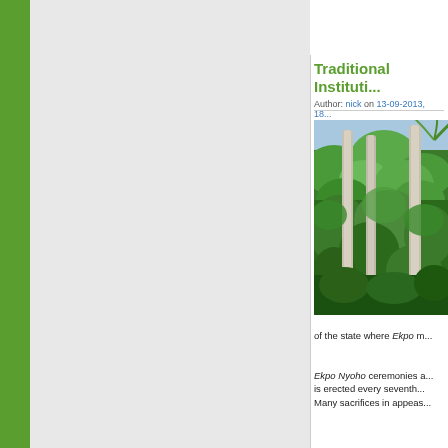Traditional Instituti...
Author: nick on 13-09-2013, 18...
[Figure (photo): Tall tropical trees with grey-white trunks rising above dense green forest vegetation]
of the state where Ekpo m...
Ekpo Nyoho ceremonies a... is erected every seventh... Many sacrifices in appeas...